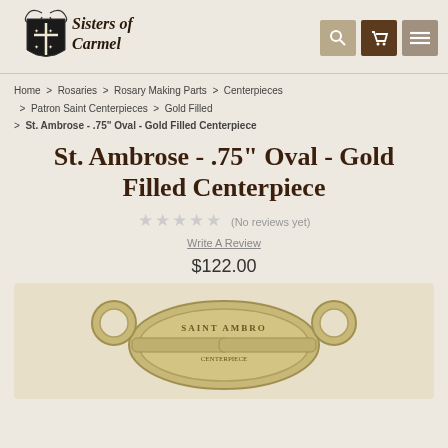[Figure (logo): Sisters of Carmel logo with shield crest and serpent motif]
Home > Rosaries > Rosary Making Parts > Centerpieces > Patron Saint Centerpieces > Gold Filled > St. Ambrose - .75" Oval - Gold Filled Centerpiece
St. Ambrose - .75" Oval - Gold Filled Centerpiece
★★★★★ (No reviews yet)
Write A Review
$122.00
[Figure (photo): Close-up photo of a gold filled oval centerpiece with text SAINT AMBROSE and loops on each side]